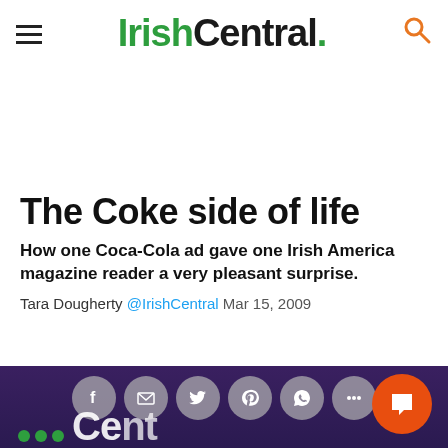IrishCentral.
The Coke side of life
How one Coca-Cola ad gave one Irish America magazine reader a very pleasant surprise.
Tara Dougherty @IrishCentral Mar 15, 2009
[Figure (screenshot): Bottom navigation bar with social share buttons (Facebook, email, Twitter, Pinterest, WhatsApp, more) on dark purple background, with orange chat button bottom right, and partial IrishCentral logo text visible]